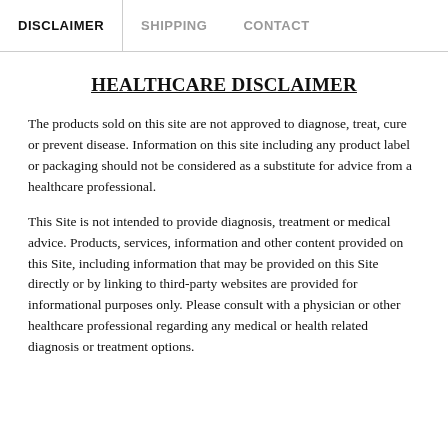DISCLAIMER | SHIPPING | CONTACT
HEALTHCARE DISCLAIMER
The products sold on this site are not approved to diagnose, treat, cure or prevent disease. Information on this site including any product label or packaging should not be considered as a substitute for advice from a healthcare professional.
This Site is not intended to provide diagnosis, treatment or medical advice. Products, services, information and other content provided on this Site, including information that may be provided on this Site directly or by linking to third-party websites are provided for informational purposes only. Please consult with a physician or other healthcare professional regarding any medical or health related diagnosis or treatment options.